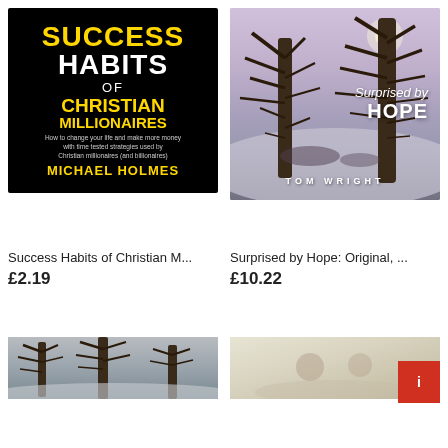[Figure (photo): Book cover: Success Habits of Christian Millionaires by Michael Holmes. Black background with yellow and white bold text.]
[Figure (photo): Book cover: Surprised by Hope by Tom Wright. Winter tree scene with purple/grey sky and white text.]
Success Habits of Christian M...
£2.19
Surprised by Hope: Original, ...
£10.22
[Figure (photo): Partial book cover image, bottom left — winter trees scene in grey/blue tones.]
[Figure (photo): Partial book cover image, bottom right — warm illustrated scene. Red badge/button overlay in corner.]